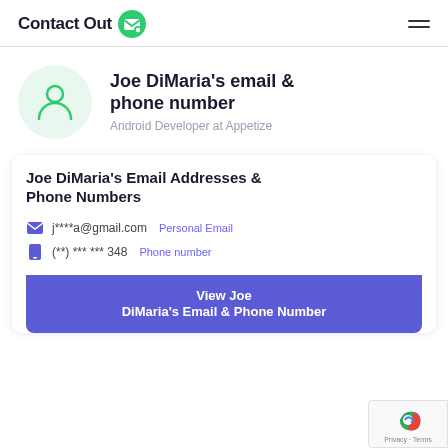ContactOut
Joe DiMaria's email & phone number
Android Developer at Appetize
Joe DiMaria's Email Addresses & Phone Numbers
j****a@gmail.com  Personal Email
(**) *** *** 348  Phone number
View Joe DiMaria's Email & Phone Number